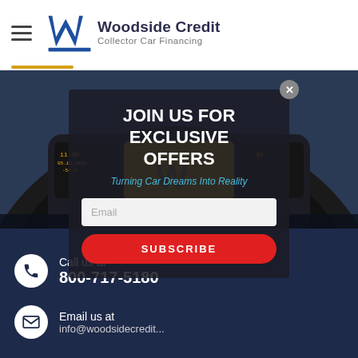Woodside Credit — Collector Car Financing
[Figure (screenshot): Sports car digital dashboard/instrument cluster viewed from driver perspective, dark interior]
JOIN US FOR EXCLUSIVE OFFERS
Turning Car Dreams Into Reality
Email
SUBSCRIBE
Call us at
800-717-5180
Email us at